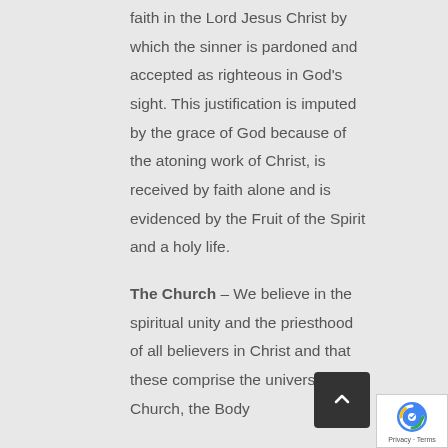faith in the Lord Jesus Christ by which the sinner is pardoned and accepted as righteous in God's sight. This justification is imputed by the grace of God because of the atoning work of Christ, is received by faith alone and is evidenced by the Fruit of the Spirit and a holy life.
The Church – We believe in the spiritual unity and the priesthood of all believers in Christ and that these comprise the universal Church, the Body